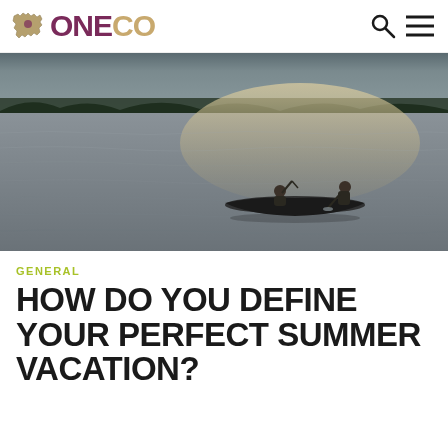ONECO
[Figure (photo): Aerial view of two people paddling a canoe on a calm lake at dusk/golden hour, with trees visible on the distant shoreline and light reflecting off the water surface.]
GENERAL
HOW DO YOU DEFINE YOUR PERFECT SUMMER VACATION?